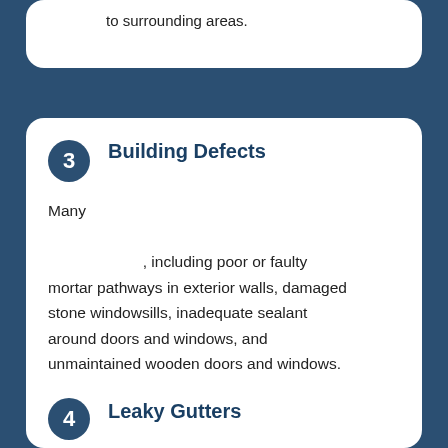to surrounding areas.
3 Building Defects — Many , including poor or faulty mortar pathways in exterior walls, damaged stone windowsills, inadequate sealant around doors and windows, and unmaintained wooden doors and windows.
4 Leaky Gutters